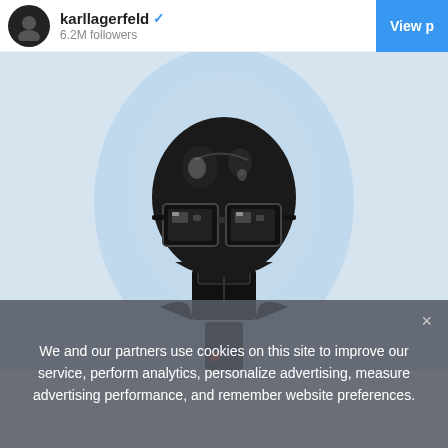karllagerfeld · 6.2M followers · View p
[Figure (illustration): Charcoal and watercolor illustration of a stylized face/head with large rectangular glasses, wearing a dark high-collared outfit, on a light blue background — resembling Karl Lagerfeld's iconic look rendered as a robot or sculpture]
We and our partners use cookies on this site to improve our service, perform analytics, personalize advertising, measure advertising performance, and remember website preferences.